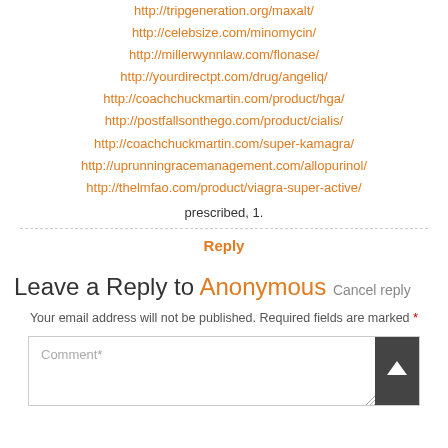http://tripgeneration.org/maxalt/
http://celebsize.com/minomycin/
http://millerwynnlaw.com/flonase/
http://yourdirectpt.com/drug/angeliq/
http://coachchuckmartin.com/product/hga/
http://postfallsonthego.com/product/cialis/
http://coachchuckmartin.com/super-kamagra/
http://uprunningracemanagement.com/allopurinol/
http://thelmfao.com/product/viagra-super-active/
prescribed, 1.
Reply
Leave a Reply to Anonymous Cancel reply
Your email address will not be published. Required fields are marked *
Comment*